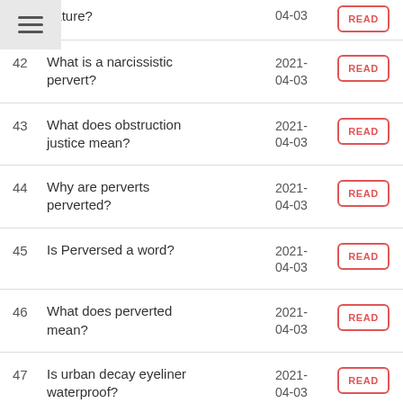nature? 2021-04-03
42. What is a narcissistic pervert? 2021-04-03
43. What does obstruction justice mean? 2021-04-03
44. Why are perverts perverted? 2021-04-03
45. Is Perversed a word? 2021-04-03
46. What does perverted mean? 2021-04-03
47. Is urban decay eyeliner waterproof? 2021-04-03